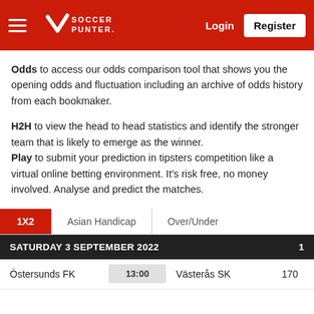Soccer Punter — Login | Register
Odds to access our odds comparison tool that shows you the opening odds and fluctuation including an archive of odds history from each bookmaker.
H2H to view the head to head statistics and identify the stronger team that is likely to emerge as the winner. Play to submit your prediction in tipsters competition like a virtual online betting environment. It's risk free, no money involved. Analyse and predict the matches.
| 1X2 | Asian Handicap | Over/Under |
| --- | --- | --- |
| SATURDAY 3 SEPTEMBER 2022 |  |  | 1 |
| --- | --- | --- | --- |
| Östersunds FK | 13:00 | Västerås SK | 170 |